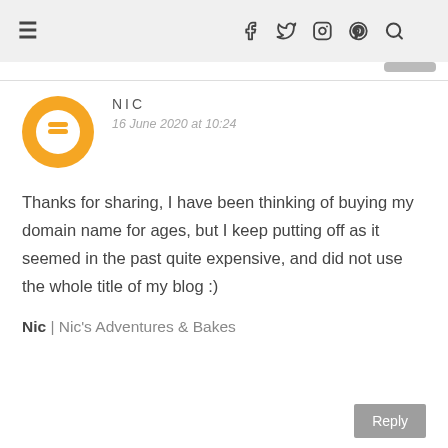≡  f  🐦  📷  𝕡  🔍
NIC
16 June 2020 at 10:24

Thanks for sharing, I have been thinking of buying my domain name for ages, but I keep putting off as it seemed in the past quite expensive, and did not use the whole title of my blog :)

Nic | Nic's Adventures & Bakes